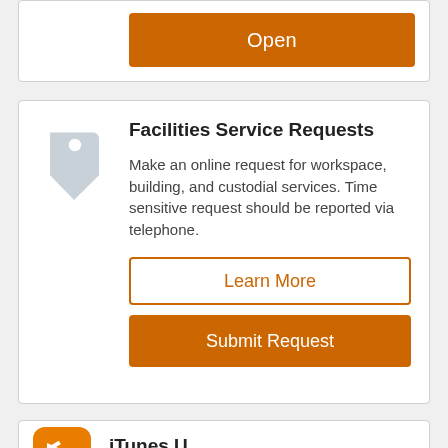Open
Facilities Service Requests
Make an online request for workspace, building, and custodial services. Time sensitive request should be reported via telephone.
Learn More
Submit Request
iTunes U